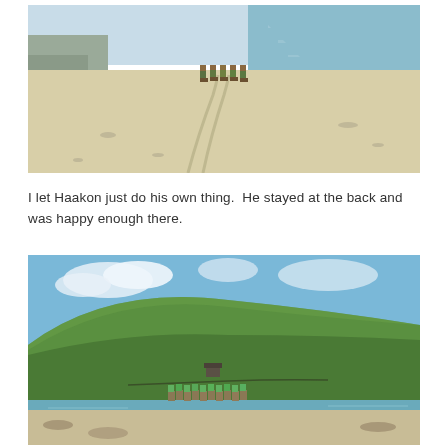[Figure (photo): Group of horse riders on a wide sandy beach beside calm blue water, viewed from behind, with sandy dunes and shoreline curving into the distance.]
I let Haakon just do his own thing.  He stayed at the back and was happy enough there.
[Figure (photo): Group of horse riders on a beach with calm blue water to the right and a large green hillside behind them, with a small stone building visible on the hillside.]